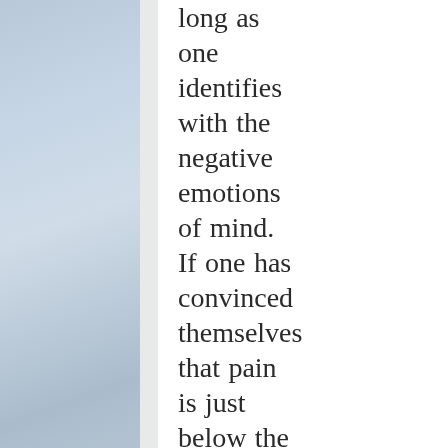long as one identifies with the negative emotions of mind. If one has convinced themselves that pain is just below the surface, then those thoughts will wire neural circuits and